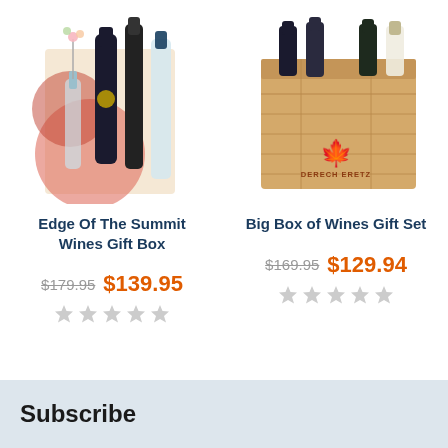[Figure (photo): Edge Of The Summit Wines Gift Box product image showing wine bottles and decorative box with flowers]
Edge Of The Summit Wines Gift Box
$179.95  $139.95
[Figure (photo): Big Box of Wines Gift Set product image showing wooden crate with Derech Eretz branding and wine bottles]
Big Box of Wines Gift Set
$169.95  $129.94
Subscribe